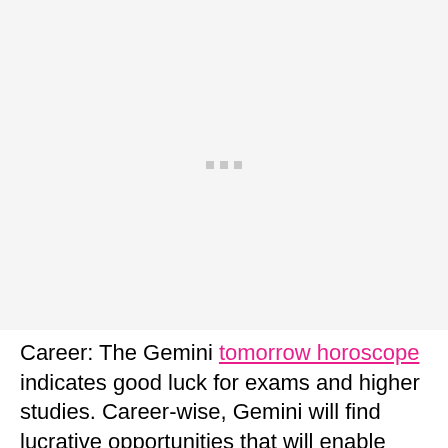[Figure (other): Placeholder image area with three small gray dots centered, light gray background]
Career: The Gemini tomorrow horoscope indicates good luck for exams and higher studies. Career-wise, Gemini will find lucrative opportunities that will enable them to show off their abilities and take